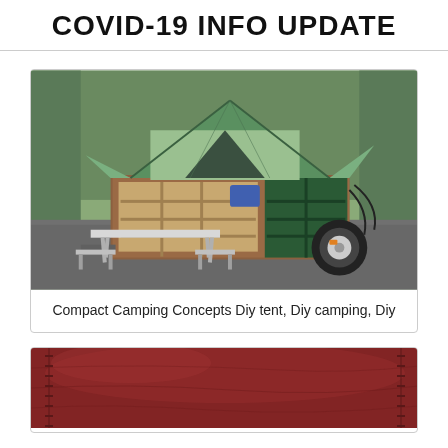COVID-19 INFO UPDATE
[Figure (photo): A compact camping trailer with a green pop-up tent on top, wooden storage compartments open on the side showing shelves, and a folding table with chairs set up in front. The trailer has a single wheel and is parked on gravel with trees in the background.]
Compact Camping Concepts Diy tent, Diy camping, Diy
[Figure (photo): Close-up of dark reddish-brown leather material with visible stitching along the edges.]